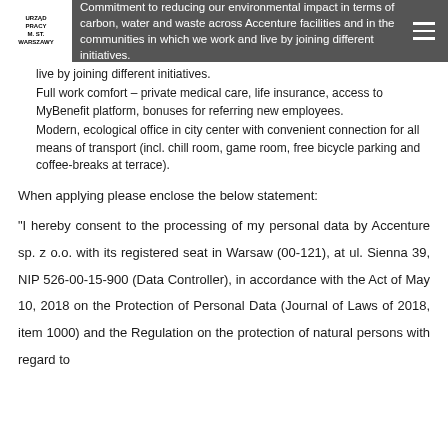Commitment to reducing our environmental impact in terms of carbon, water and waste across Accenture facilities and in the communities in which we work and live by joining different initiatives.
Commitment to reducing our environmental impact in terms of carbon, water and waste across Accenture facilities and in the communities in which we work and live by joining different initiatives.
Full work comfort – private medical care, life insurance, access to MyBenefit platform, bonuses for referring new employees.
Modern, ecological office in city center with convenient connection for all means of transport (incl. chill room, game room, free bicycle parking and coffee-breaks at terrace).
When applying please enclose the below statement:
"I hereby consent to the processing of my personal data by Accenture sp. z o.o. with its registered seat in Warsaw (00-121), at ul. Sienna 39, NIP 526-00-15-900 (Data Controller), in accordance with the Act of May 10, 2018 on the Protection of Personal Data (Journal of Laws of 2018, item 1000) and the Regulation on the protection of natural persons with regard to